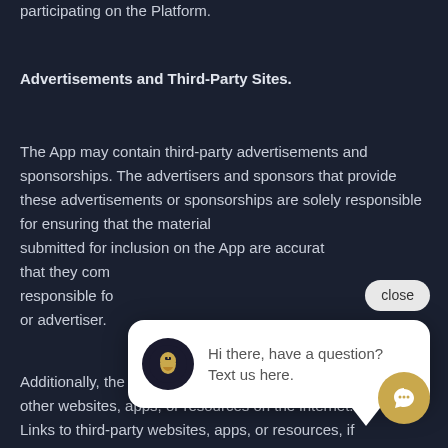participating on the Platform.
Advertisements and Third-Party Sites.
The App may contain third-party advertisements and sponsorships. The advertisers and sponsors that provide these advertisements or sponsorships are solely responsible for ensuring that the materials submitted for inclusion on the App are accurate and that they com responsible fo or advertiser.
Additionally, the App may provide you with links other websites, apps, or resources on the internet. Links to third-party websites, apps, or resources, if